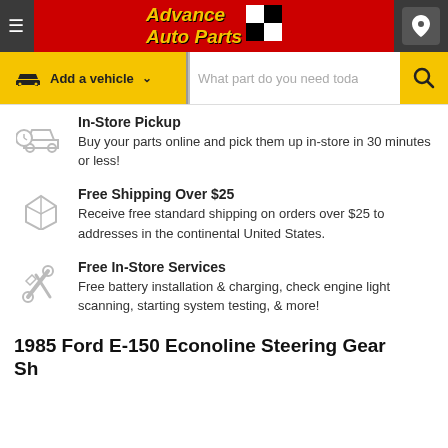[Figure (logo): Advance Auto Parts logo with red background and checkered flag, in grey header bar with hamburger menu and location pin icon]
[Figure (screenshot): Search bar with yellow 'Add a vehicle' button and search input field with magnifying glass icon]
In-Store Pickup
Buy your parts online and pick them up in-store in 30 minutes or less!
Free Shipping Over $25
Receive free standard shipping on orders over $25 to addresses in the continental United States.
Free In-Store Services
Free battery installation & charging, check engine light scanning, starting system testing, & more!
1985 Ford E-150 Econoline Steering Gear Shaft Seals Pack